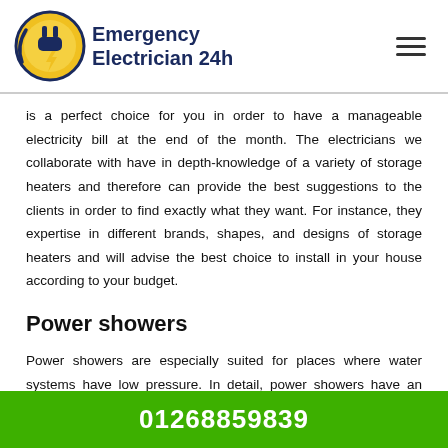Emergency Electrician 24h
is a perfect choice for you in order to have a manageable electricity bill at the end of the month. The electricians we collaborate with have in depth-knowledge of a variety of storage heaters and therefore can provide the best suggestions to the clients in order to find exactly what they want. For instance, they expertise in different brands, shapes, and designs of storage heaters and will advise the best choice to install in your house according to your budget.
Power showers
Power showers are especially suited for places where water systems have low pressure. In detail, power showers have an inbuilt pump that boosts water flow performance, giving an invigorating and brisk
01268859839